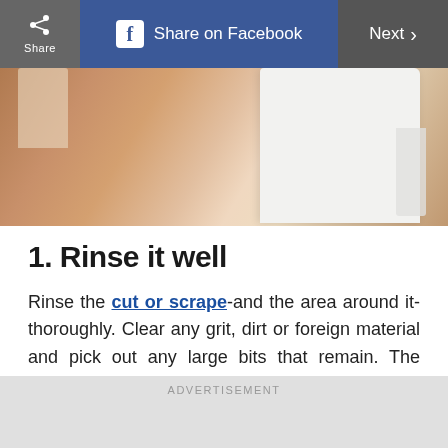Share | Share on Facebook | Next
[Figure (photo): Close-up photo of a person's torso/stomach area near a white cabinet or bathtub, suggesting a bathroom setting for wound care.]
1. Rinse it well
Rinse the cut or scrape-and the area around it-thoroughly. Clear any grit, dirt or foreign material and pick out any large bits that remain. The rinsing removes particles you can't see. If you don't have a clean water source available (bottled water is ideal), cover the wound with a clean dressing and rinse it out as soon as possible.
ADVERTISEMENT